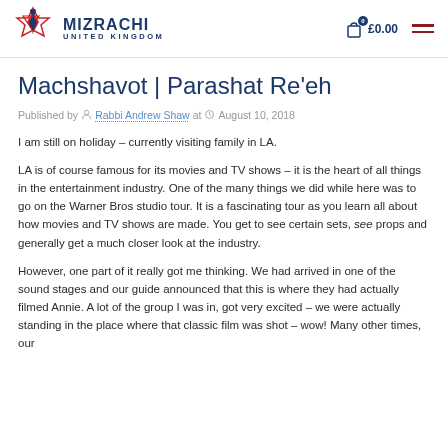MIZRACHI UNITED KINGDOM | £0.00
Machshavot | Parashat Re'eh
Published by Rabbi Andrew Shaw at August 10, 2018
I am still on holiday – currently visiting family in LA.
LA is of course famous for its movies and TV shows – it is the heart of all things in the entertainment industry. One of the many things we did while here was to go on the Warner Bros studio tour. It is a fascinating tour as you learn all about how movies and TV shows are made. You get to see certain sets, see props and generally get a much closer look at the industry.
However, one part of it really got me thinking. We had arrived in one of the sound stages and our guide announced that this is where they had actually filmed Annie. A lot of the group I was in, got very excited – we were actually standing in the place where that classic film was shot – wow! Many other times, our